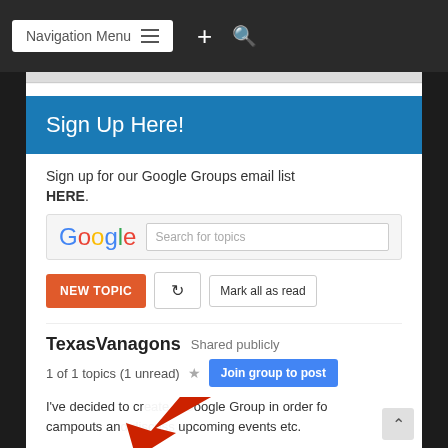[Figure (screenshot): Mobile website navigation bar with Navigation Menu button, plus icon, and search icon on dark background]
Sign Up Here!
Sign up for our Google Groups email list HERE.
[Figure (screenshot): Google Groups widget with Google logo and Search for topics input box, plus NEW TOPIC button, refresh button, Mark all as read button]
TexasVanagons  Shared publicly
1 of 1 topics (1 unread) ★  Join group to post
I've decided to create a Google Group in order for campouts and discuss upcoming events etc.
When you send an email to *texasvanagons@go as far as delivery. You can select to get them as
[Figure (illustration): Red arrow pointing to Join group to post button]